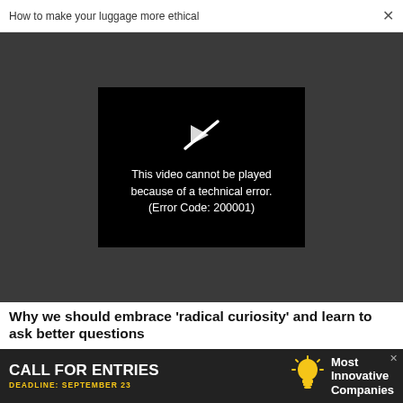How to make your luggage more ethical  ×
[Figure (screenshot): Video player error screen with dark gray background. Black box in center shows a crossed-out play icon and text: 'This video cannot be played because of a technical error. (Error Code: 200001)']
Why we should embrace 'radical curiosity' and learn to ask better questions
WORK LIFE
Your employees might be missing one critical tool to generate great ideas
[Figure (infographic): Advertisement banner: black background, white bold text 'CALL FOR ENTRIES', yellow text 'DEADLINE: SEPTEMBER 23', lightbulb icon, right side text 'Most Innovative Companies']